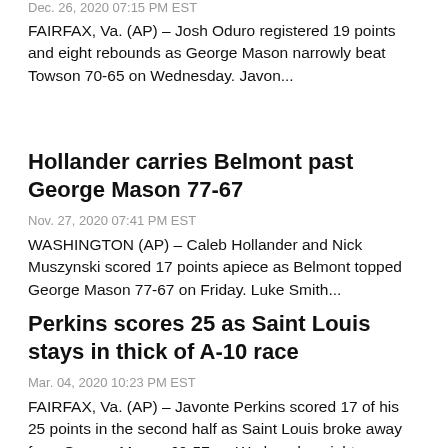Dec. 26, 2020 07:15 PM EST
FAIRFAX, Va. (AP) – Josh Oduro registered 19 points and eight rebounds as George Mason narrowly beat Towson 70-65 on Wednesday. Javon...
Hollander carries Belmont past George Mason 77-67
Nov. 27, 2020 07:41 PM EST
WASHINGTON (AP) – Caleb Hollander and Nick Muszynski scored 17 points apiece as Belmont topped George Mason 77-67 on Friday. Luke Smith...
Perkins scores 25 as Saint Louis stays in thick of A-10 race
Mar. 04, 2020 10:23 PM EST
FAIRFAX, Va. (AP) – Javonte Perkins scored 17 of his 25 points in the second half as Saint Louis broke away from George Mason 69-57 on Wednesday night.